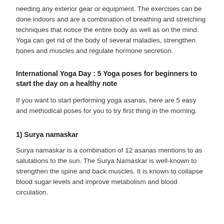needing any exterior gear or equipment. The exercises can be done indoors and are a combination of breathing and stretching techniques that notice the entire body as well as on the mind. Yoga can get rid of the body of several maladies, strengthen bones and muscles and regulate hormone secretion.
International Yoga Day : 5 Yoga poses for beginners to start the day on a healthy note
If you want to start performing yoga asanas, here are 5 easy and methodical poses for you to try first thing in the morning.
1) Surya namaskar
Surya namaskar is a combination of 12 asanas mentions to as salutations to the sun. The Surya Namaskar is well-known to strengthen the spine and back muscles. It is known to collapse blood sugar levels and improve metabolism and blood circulation.